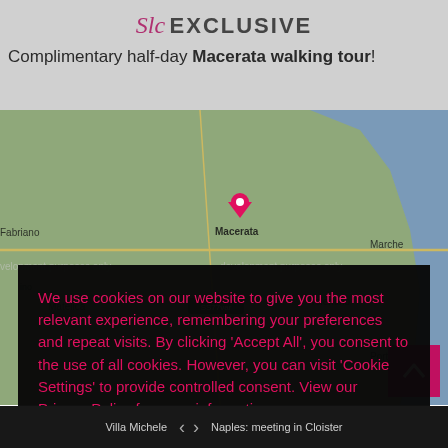Slc EXCLUSIVE
Complimentary half-day Macerata walking tour!
[Figure (map): Map showing the Macerata region in Italy with surrounding towns including Matelica, Tolentino, Porto San, and road labels SS77var and A365. Pink location marker visible at Macerata.]
We use cookies on our website to give you the most relevant experience, remembering your preferences and repeat visits. By clicking 'Accept All', you consent to the use of all cookies. However, you can visit 'Cookie Settings' to provide controlled consent. View our Privacy Policy for more information
Settings  Accept All  Reject
Villa Michele  <  >  Naples: meeting in Cloister